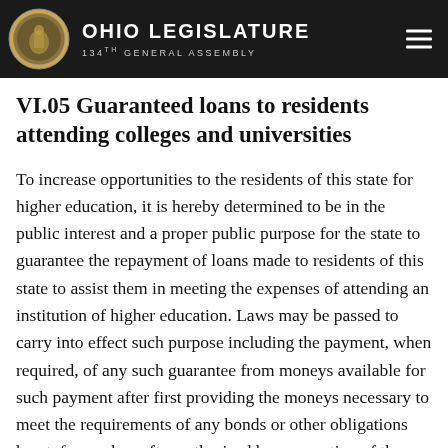Ohio Legislature 134th General Assembly
VI.05 Guaranteed loans to residents attending colleges and universities
To increase opportunities to the residents of this state for higher education, it is hereby determined to be in the public interest and a proper public purpose for the state to guarantee the repayment of loans made to residents of this state to assist them in meeting the expenses of attending an institution of higher education. Laws may be passed to carry into effect such purpose including the payment, when required, of any such guarantee from moneys available for such payment after first providing the moneys necessary to meet the requirements of any bonds or other obligations heretofore or hereafter authorized by any section of the Constitution. Such laws and guarantees